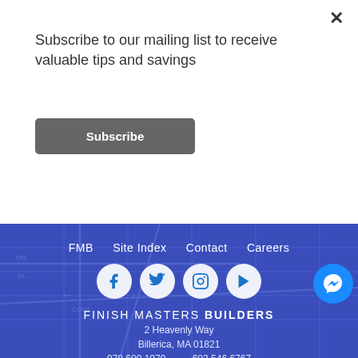Subscribe to our mailing list to receive valuable tips and savings
Subscribe
[Figure (screenshot): Website footer with navigation links (FMB, Site Index, Contact, Careers), social media icons (Facebook, Twitter, Instagram, YouTube), Facebook Messenger chat button, company name FINISH MASTERS BUILDERS, address 2 Heavenly Way, Billerica MA 01821, phone numbers 978.600.1979 and 603.546.6767, email info@myfinishmasters.com]
FMB  Site Index  Contact  Careers
FINISH MASTERS BUILDERS
2 Heavenly Way
Billerica, MA 01821
978.600.1979    603.546.6767
info@myfinishmasters.com